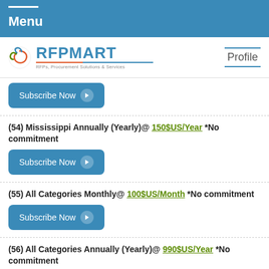Menu
[Figure (logo): RFPMART logo with tagline 'RFPs, Procurement Solutions & Services']
Profile
(Subscribe Now button - partial top)
(54) Mississippi Annually (Yearly)@ 150$US/Year *No commitment
(55) All Categories Monthly@ 100$US/Month *No commitment
(56) All Categories Annually (Yearly)@ 990$US/Year *No commitment